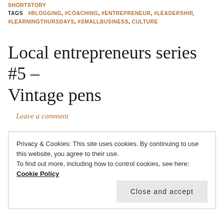SHORTSTORY
TAGS #BLOGGING, #COACHING, #ENTREPRENEUR, #LEADERSHIP, #LEARNINGTHURSDAYS, #SMALLBUSINESS, CULTURE
Local entrepreneurs series #5 – Vintage pens
Leave a comment
Privacy & Cookies: This site uses cookies. By continuing to use this website, you agree to their use.
To find out more, including how to control cookies, see here: Cookie Policy
Close and accept